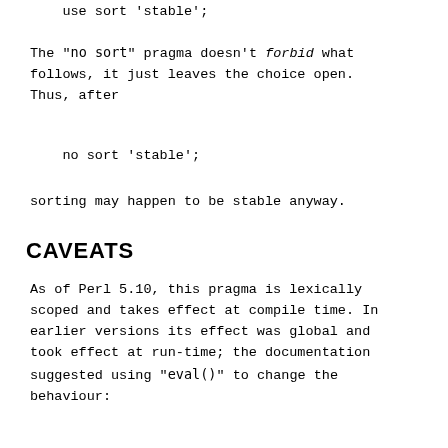use sort 'stable';
The "no sort" pragma doesn't forbid what follows, it just leaves the choice open. Thus, after
no sort 'stable';
sorting may happen to be stable anyway.
CAVEATS
As of Perl 5.10, this pragma is lexically scoped and takes effect at compile time. In earlier versions its effect was global and took effect at run-time; the documentation suggested using "eval()" to change the behaviour: